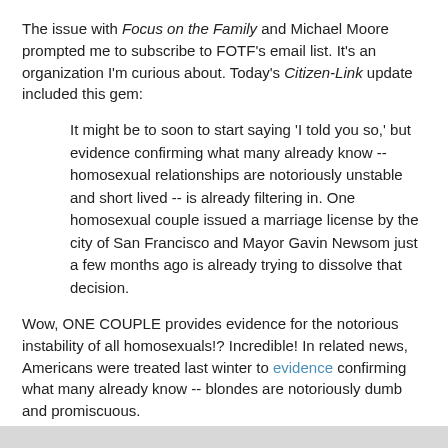The issue with Focus on the Family and Michael Moore prompted me to subscribe to FOTF's email list. It's an organization I'm curious about. Today's Citizen-Link update included this gem:
It might be to soon to start saying 'I told you so,' but evidence confirming what many already know -- homosexual relationships are notoriously unstable and short lived -- is already filtering in. One homosexual couple issued a marriage license by the city of San Francisco and Mayor Gavin Newsom just a few months ago is already trying to dissolve that decision.
Wow, ONE COUPLE provides evidence for the notorious instability of all homosexuals!? Incredible! In related news, Americans were treated last winter to evidence confirming what many already know -- blondes are notoriously dumb and promiscuous.